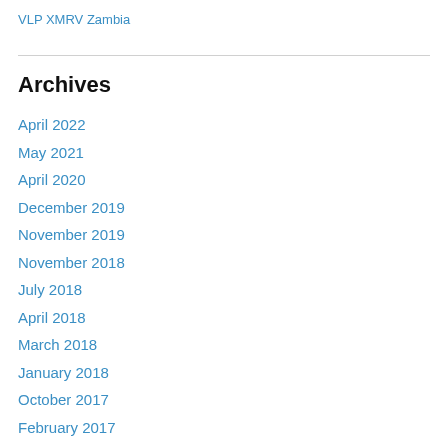VLP XMRV Zambia
Archives
April 2022
May 2021
April 2020
December 2019
November 2019
November 2018
July 2018
April 2018
March 2018
January 2018
October 2017
February 2017
August 2016
July 2016
June 2016